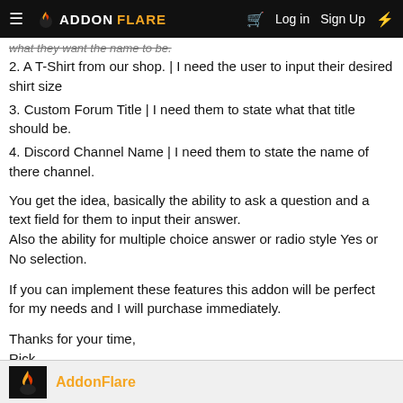≡ ADDONFLARE  🛒  Log in  Sign Up  ⚡
what they want the name to be.
2. A T-Shirt from our shop. | I need the user to input their desired shirt size
3. Custom Forum Title | I need them to state what that title should be.
4. Discord Channel Name | I need them to state the name of there channel.
You get the idea, basically the ability to ask a question and a text field for them to input their answer.
Also the ability for multiple choice answer or radio style Yes or No selection.
If you can implement these features this addon will be perfect for my needs and I will purchase immediately.
Thanks for your time,
Rick
AddonFlare